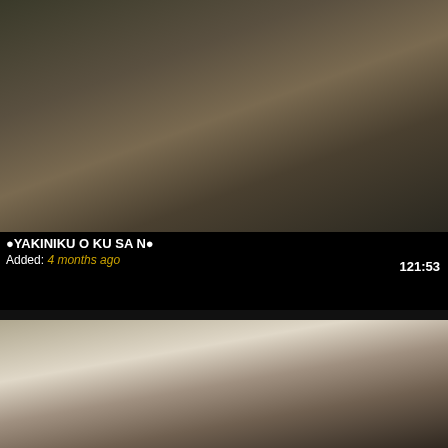[Figure (screenshot): Video thumbnail showing two people in a dark setting]
●YAKINIKU O KU SA N●
Added: 4 months ago
121:53
[Figure (screenshot): Video thumbnail showing a person in a white dress in a room with windows]